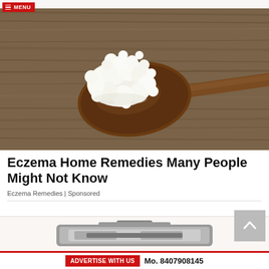MENU
[Figure (photo): A wooden spoon loaded with white kefir grains/cauliflower-like white substance, set on a rustic wooden background. The image is a food/health photograph with warm brown tones.]
Eczema Home Remedies Many People Might Not Know
Eczema Remedies | Sponsored
[Figure (photo): Partial view of a kitchen appliance (appears to be a toaster or grill), silver/metallic, shown from above at an angle, on a light background.]
ADVERTISE WITH US   Mo. 8407908145